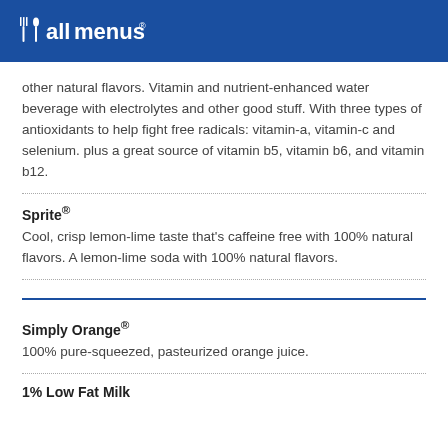[Figure (logo): allmenus logo with fork and spoon icon on blue background]
other natural flavors. Vitamin and nutrient-enhanced water beverage with electrolytes and other good stuff. With three types of antioxidants to help fight free radicals: vitamin-a, vitamin-c and selenium. plus a great source of vitamin b5, vitamin b6, and vitamin b12.
Sprite®
Cool, crisp lemon-lime taste that's caffeine free with 100% natural flavors. A lemon-lime soda with 100% natural flavors.
Simply Orange®
100% pure-squeezed, pasteurized orange juice.
1% Low Fat Milk